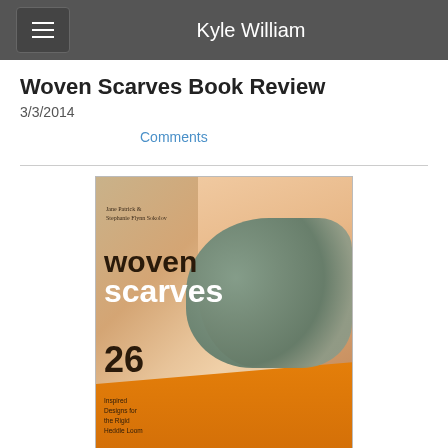Kyle William
Woven Scarves Book Review
3/3/2014
Comments
[Figure (photo): Book cover of 'Woven Scarves: 26 Inspired Designs for the Rigid Heddle Loom' by Jane Patrick & Stephanie Flynn Sokolov. Cover shows a close-up of a woman wearing a textured woven scarf, with the title text overlaid.]